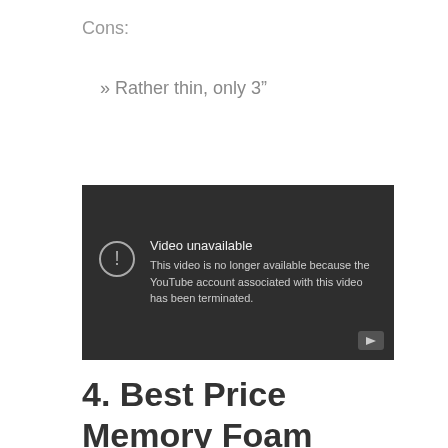Cons:
» Rather thin, only 3"
[Figure (screenshot): Embedded YouTube video player showing error message: 'Video unavailable. This video is no longer available because the YouTube account associated with this video has been terminated.']
4. Best Price Memory Foam Floor Mattress